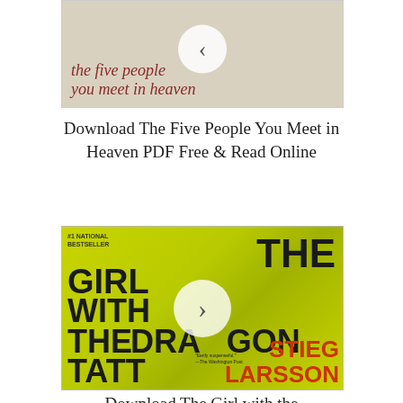[Figure (illustration): Book cover of 'The Five People You Meet in Heaven' showing beige/tan background with the title text in dark red italic serif font and a navigation arrow circle overlay]
Download The Five People You Meet in Heaven PDF Free & Read Online
[Figure (illustration): Book cover of 'The Girl with the Dragon Tattoo' by Stieg Larsson. Yellow-green background with large bold black text and red author name. Features a circular play/navigation button overlay. Marked as #1 National Bestseller.]
Download The Girl with the...